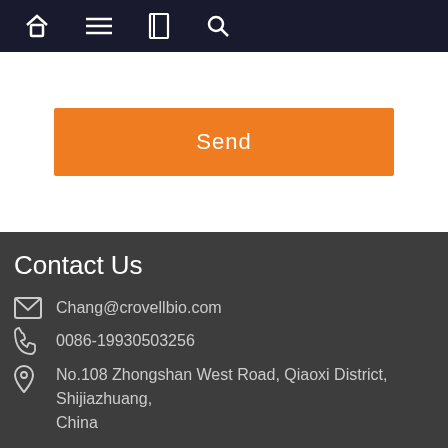Navigation bar with home, menu, book, and search icons
Send
Contact Us
Chang@crovellbio.com
0086-19930503256
No.108 Zhongshan West Road, Qiaoxi District, Shijiazhuang, China
Guanlang Group© Copyright - 2010-2022 : All Rights Reserved. Hebei Guanlang Biotechnology Co., Ltd. Hebei Crovell Biotech Co., Ltd.
Hot Tags - Sitemap.xml - AMP Mobile